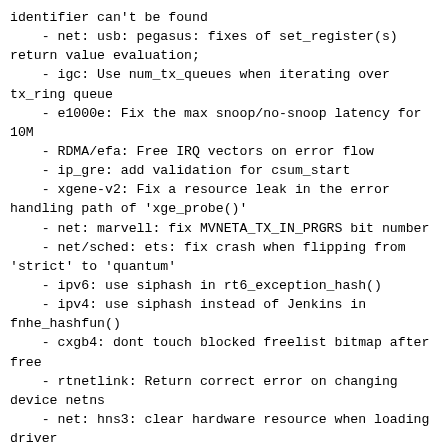identifier can't be found
    - net: usb: pegasus: fixes of set_register(s) return value evaluation;
    - igc: Use num_tx_queues when iterating over tx_ring queue
    - e1000e: Fix the max snoop/no-snoop latency for 10M
    - RDMA/efa: Free IRQ vectors on error flow
    - ip_gre: add validation for csum_start
    - xgene-v2: Fix a resource leak in the error handling path of 'xge_probe()'
    - net: marvell: fix MVNETA_TX_IN_PRGRS bit number
    - net/sched: ets: fix crash when flipping from 'strict' to 'quantum'
    - ipv6: use siphash in rt6_exception_hash()
    - ipv4: use siphash instead of Jenkins in fnhe_hashfun()
    - cxgb4: dont touch blocked freelist bitmap after free
    - rtnetlink: Return correct error on changing device netns
    - net: hns3: clear hardware resource when loading driver
    - net: hns3: add waiting time before cmdq memory is released
    - net: hns3: fix duplicate node in VLAN list
    - net: hns3: fix get wrong pfc_en when query PFC configuration
    - net: stmmac: add mutex lock to protect est parameters